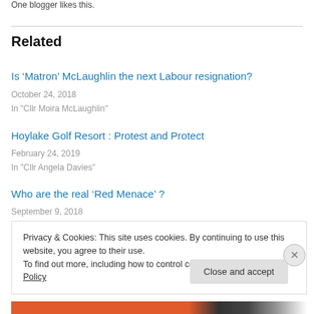One blogger likes this.
Related
Is ‘Matron’ McLaughlin the next Labour resignation?
October 24, 2018
In "Cllr Moira McLaughlin"
Hoylake Golf Resort : Protest and Protect
February 24, 2019
In "Cllr Angela Davies"
Who are the real ‘Red Menace’ ?
September 9, 2018
Privacy & Cookies: This site uses cookies. By continuing to use this website, you agree to their use.
To find out more, including how to control cookies, see here: Cookie Policy